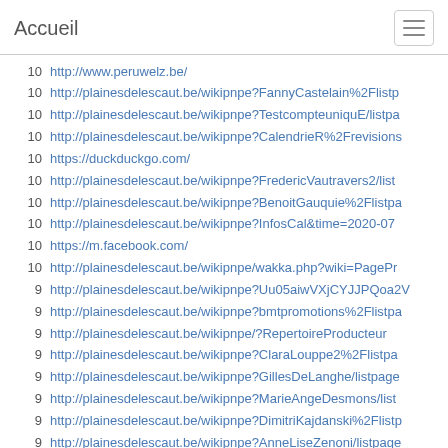Accueil
10  http://www.peruwelz.be/
10  http://plainesdelescaut.be/wikipnpe?FannyCastelain%2Flistp...
10  http://plainesdelescaut.be/wikipnpe?TestcompteuniquE/listpa...
10  http://plainesdelescaut.be/wikipnpe?CalendrieR%2Frevisions...
10  https://duckduckgo.com/
10  http://plainesdelescaut.be/wikipnpe?FredericVautravers2/list...
10  http://plainesdelescaut.be/wikipnpe?BenoitGauquie%2Flistpa...
10  http://plainesdelescaut.be/wikipnpe?InfosCal&time=2020-07...
10  https://m.facebook.com/
10  http://plainesdelescaut.be/wikipnpe/wakka.php?wiki=PagePr...
9   http://plainesdelescaut.be/wikipnpe?Uu05aiwVXjCYJJPQoa2V...
9   http://plainesdelescaut.be/wikipnpe?bmtpromotions%2Flistpa...
9   http://plainesdelescaut.be/wikipnpe/?RepertoireProducteur
9   http://plainesdelescaut.be/wikipnpe?ClaraLouppe2%2Flistpa...
9   http://plainesdelescaut.be/wikipnpe?GillesDeLanghe/listpage...
9   http://plainesdelescaut.be/wikipnpe?MarieAngeDesmons/list...
9   http://plainesdelescaut.be/wikipnpe?DimitriKajdanski%2Flistp...
9   http://plainesdelescaut.be/wikipnpe?AnneLiseZenoni/listpage...
8   http://plainesdelescaut.be/wikipnpe/wakka.php?wiki=ProjetS...
8   http://plainesdelescaut.be/wikipnpe?SeanceDInformationE...